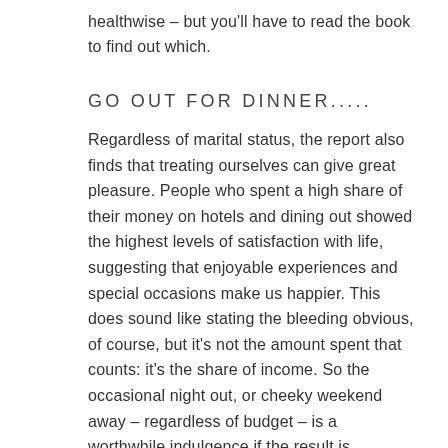healthwise – but you'll have to read the book to find out which.
GO OUT FOR DINNER.....
Regardless of marital status, the report also finds that treating ourselves can give great pleasure. People who spent a high share of their money on hotels and dining out showed the highest levels of satisfaction with life, suggesting that enjoyable experiences and special occasions make us happier. This does sound like stating the bleeding obvious, of course, but it's not the amount spent that counts: it's the share of income. So the occasional night out, or cheeky weekend away – regardless of budget – is a worthwhile indulgence if the result is happiness.
IT'S OUR AGE.....